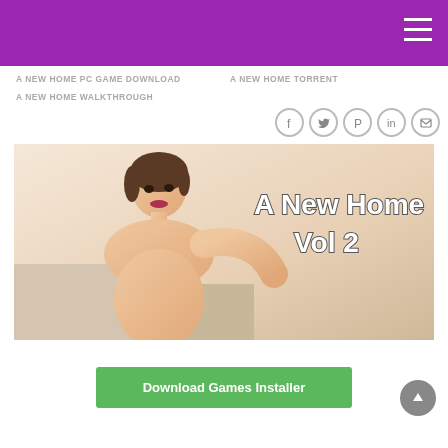A NEW HOME PC GAME DOWNLOAD
A NEW HOME TORRENT
A NEW HOME WALKTHROUGH
[Figure (screenshot): Game cover image showing a woman with text 'A New Home Vol 2' overlay]
[Figure (illustration): Download Games Installer green button]
Download Games Installer